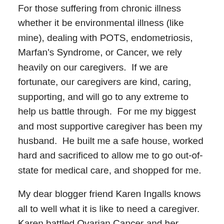For those suffering from chronic illness whether it be environmental illness (like mine), dealing with POTS, endometriosis, Marfan's Syndrome, or Cancer, we rely heavily on our caregivers.  If we are fortunate, our caregivers are kind, caring, supporting, and will go to any extreme to help us battle through.  For me my biggest and most supportive caregiver has been my husband.  He built me a safe house, worked hard and sacrificed to allow me to go out-of-state for medical care, and shopped for me.
My dear blogger friend Karen Ingalls knows all to well what it is like to need a caregiver.  Karen battled Ovarian Cancer and her husband was beside her all the way.  Karen wrote a wonderful book entitled Outshine: An Ovarian Cancer Memoir.  Karen's story moved me; the courage and inspiration she shares in her book is something that can benefit anyone no matter their chronic